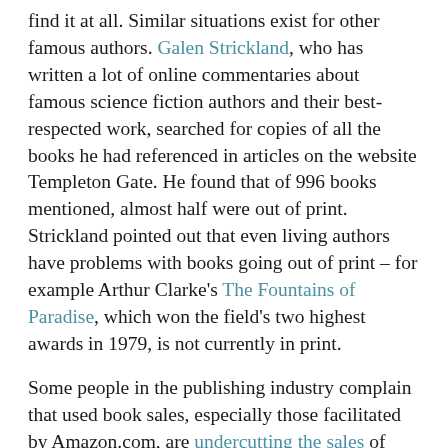find it at all. Similar situations exist for other famous authors. Galen Strickland, who has written a lot of online commentaries about famous science fiction authors and their best-respected work, searched for copies of all the books he had referenced in articles on the website Templeton Gate. He found that of 996 books mentioned, almost half were out of print. Strickland pointed out that even living authors have problems with books going out of print – for example Arthur Clarke's The Fountains of Paradise, which won the field's two highest awards in 1979, is not currently in print.

Some people in the publishing industry complain that used book sales, especially those facilitated by Amazon.com, are undercutting the sales of new